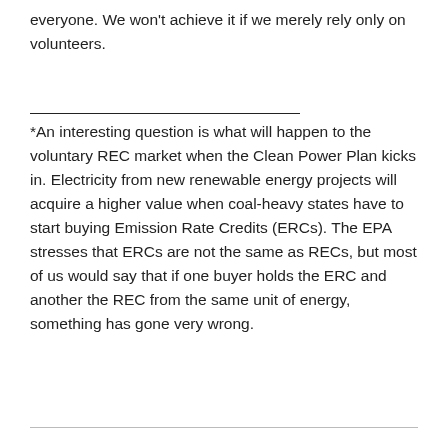everyone. We won't achieve it if we merely rely only on volunteers.
*An interesting question is what will happen to the voluntary REC market when the Clean Power Plan kicks in. Electricity from new renewable energy projects will acquire a higher value when coal-heavy states have to start buying Emission Rate Credits (ERCs). The EPA stresses that ERCs are not the same as RECs, but most of us would say that if one buyer holds the ERC and another the REC from the same unit of energy, something has gone very wrong.